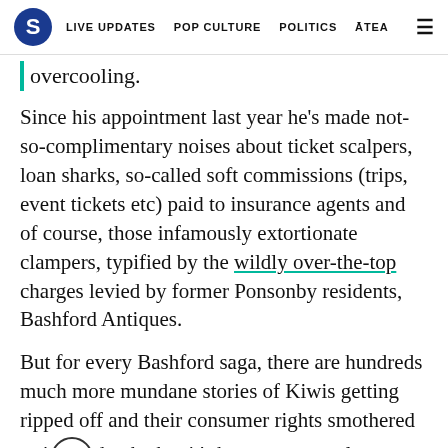S | LIVE UPDATES  POP CULTURE  POLITICS  ĀTEA
overcooling.
Since his appointment last year he's made not-so-complimentary noises about ticket scalpers, loan sharks, so-called soft commissions (trips, event tickets etc) paid to insurance agents and of course, those infamously extortionate clampers, typified by the wildly over-the-top charges levied by former Ponsonby residents, Bashford Antiques.
But for every Bashford saga, there are hundreds much more mundane stories of Kiwis getting ripped off and their consumer rights smothered or ignored, whether it's by an unscrupulous clamping gang or its a loan heavy charging per phone call. The damage is deep: low incomes plus high credit